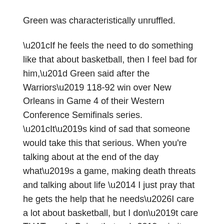Green was characteristically unruffled.
“If he feels the need to do something like that about basketball, then I feel bad for him,” Green said after the Warriors’ 118-92 win over New Orleans in Game 4 of their Western Conference Semifinals series. “It’s kind of sad that someone would take this that serious. When you're talking about at the end of the day what’s a game, making death threats and talking about life — I just pray that he gets the help that he needs…I care a lot about basketball, but I don’t care THAT much. Being that we’re in it every day, we’re literally blood threat and tears in this every day — and it doesn't mean THAT much to me, it shouldn't mean THAT much to him either.”
As for the booing Green, of course, took it as a compliment.